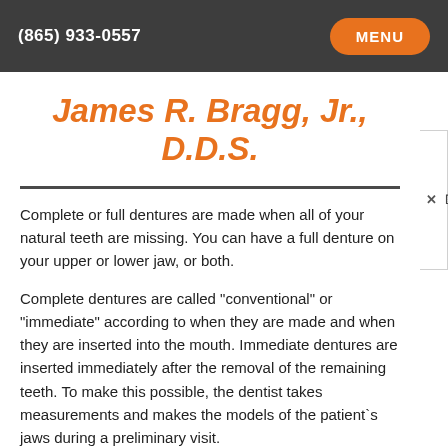(865) 933-0557  MENU
James R. Bragg, Jr., D.D.S.
Complete or full dentures are made when all of your natural teeth are missing. You can have a full denture on your upper or lower jaw, or both.
Complete dentures are called "conventional" or "immediate" according to when they are made and when they are inserted into the mouth. Immediate dentures are inserted immediately after the removal of the remaining teeth. To make this possible, the dentist takes measurements and makes the models of the patient`s jaws during a preliminary visit.
An advantage of immediate dentures is that the wearer does not have to be without teeth during the healing period. However, bones and gums can shrink over time